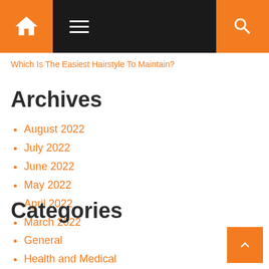Navigation bar with home icon, hamburger menu, and search icon
Which Is The Easiest Hairstyle To Maintain?
Archives
August 2022
July 2022
June 2022
May 2022
April 2022
March 2022
Categories
General
Health and Medical